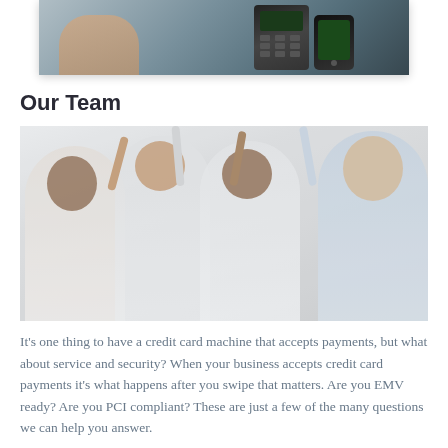[Figure (photo): Close-up photo of hands using a mobile payment device / credit card terminal]
Our Team
[Figure (photo): Photo of a diverse team of business people celebrating with high-fives, arms raised together]
It's one thing to have a credit card machine that accepts payments, but what about service and security? When your business accepts credit card payments it's what happens after you swipe that matters. Are you EMV ready? Are you PCI compliant? These are just a few of the many questions we can help you answer.